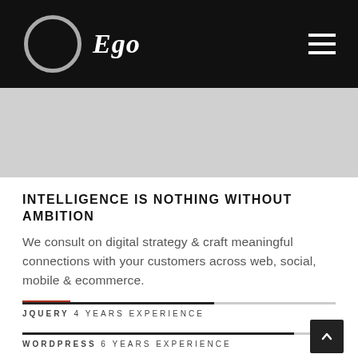Ego
[Figure (illustration): Gray hero banner strip]
INTELLIGENCE IS NOTHING WITHOUT AMBITION
We consult on digital strategy & craft meaningful connections with your customers across web, social, mobile & ecommerce.
JQUERY 4 YEARS EXPERIENCE
WORDPRESS 6 YEARS EXPERIENCE